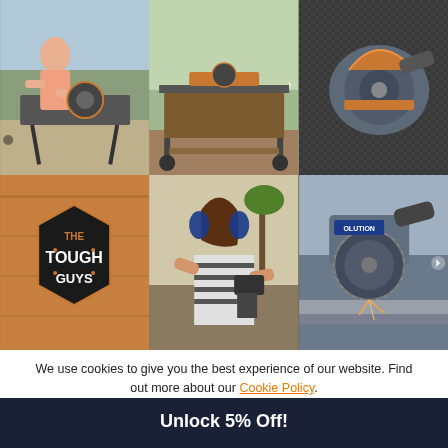[Figure (photo): Grid of 6 photos showing power tools (circular saws, miter saws) and people using them, plus a 'The Tough Guys' brand banner]
We use cookies to give you the best experience of our website. Find out more about our Cookie Policy.
Accept
Unlock 5% Off!